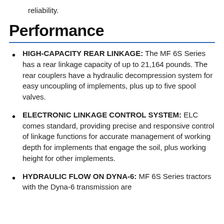reliability.
Performance
HIGH-CAPACITY REAR LINKAGE: The MF 6S Series has a rear linkage capacity of up to 21,164 pounds. The rear couplers have a hydraulic decompression system for easy uncoupling of implements, plus up to five spool valves.
ELECTRONIC LINKAGE CONTROL SYSTEM: ELC comes standard, providing precise and responsive control of linkage functions for accurate management of working depth for implements that engage the soil, plus working height for other implements.
HYDRAULIC FLOW ON DYNA-6: MF 6S Series tractors with the Dyna-6 transmission are